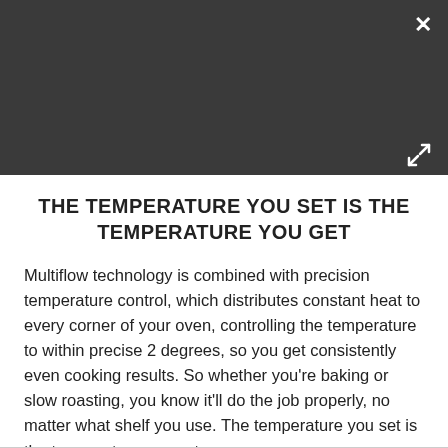[Figure (screenshot): Dark gray header area with close (×) button top-right and expand (diagonal arrows) button lower-right]
THE TEMPERATURE YOU SET IS THE TEMPERATURE YOU GET
Multiflow technology is combined with precision temperature control, which distributes constant heat to every corner of your oven, controlling the temperature to within precise 2 degrees, so you get consistently even cooking results. So whether you're baking or slow roasting, you know it'll do the job properly, no matter what shelf you use. The temperature you set is the temperature you get.